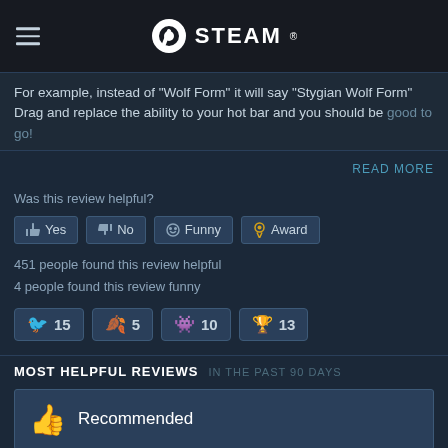STEAM
For example, instead of "Wolf Form" it will say "Stygian Wolf Form"
Drag and replace the ability to your hot bar and you should be good to go!
READ MORE
Was this review helpful?
Yes  No  Funny  Award
451 people found this review helpful
4 people found this review funny
15  5  10  13
MOST HELPFUL REVIEWS IN THE PAST 90 DAYS
Recommended